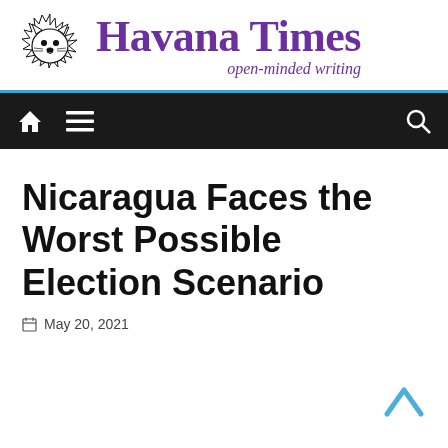[Figure (logo): Havana Times logo: stylized wolf/dog head illustration in black ink with spiky fur, to the left of the site name]
Havana Times
open-minded writing
[Figure (screenshot): Black navigation bar with white home icon, hamburger menu icon on the left, and search (magnifying glass) icon on the right]
Nicaragua Faces the Worst Possible Election Scenario
May 20, 2021